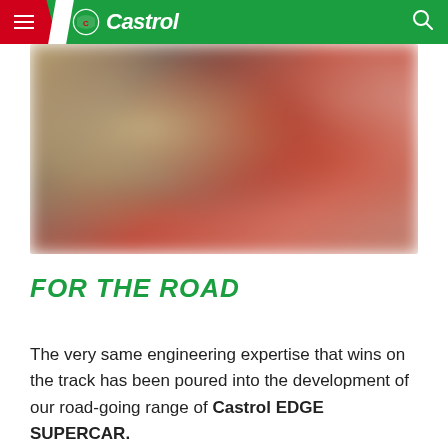Castrol
[Figure (photo): Blurred/out-of-focus close-up photo of what appears to be Castrol engine oil cans/bottles, showing red, gold, and dark tones.]
FOR THE ROAD
The very same engineering expertise that wins on the track has been poured into the development of our road-going range of Castrol EDGE SUPERCAR.